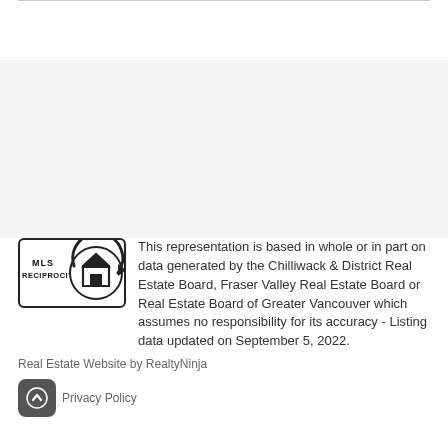[Figure (logo): MLS Reciprocity logo — a rounded rectangle containing text 'MLS RECIPROCITY' and a house icon inside a circular arrow]
This representation is based in whole or in part on data generated by the Chilliwack & District Real Estate Board, Fraser Valley Real Estate Board or Real Estate Board of Greater Vancouver which assumes no responsibility for its accuracy - Listing data updated on September 5, 2022.
Real Estate Website by RealtyNinja
Privacy Policy